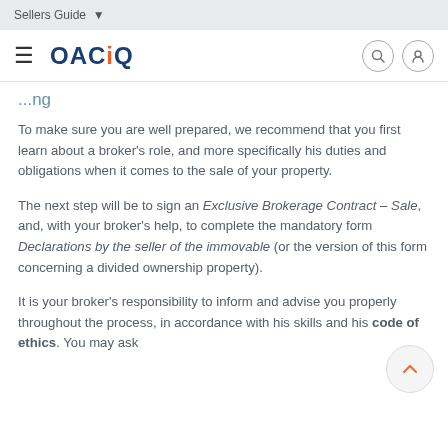Sellers Guide
OACIQ
To make sure you are well prepared, we recommend that you first learn about a broker’s role, and more specifically his duties and obligations when it comes to the sale of your property.
The next step will be to sign an Exclusive Brokerage Contract – Sale, and, with your broker’s help, to complete the mandatory form Declarations by the seller of the immovable (or the version of this form concerning a divided ownership property).
It is your broker’s responsibility to inform and advise you properly throughout the process, in accordance with his skills and his code of ethics. You may ask